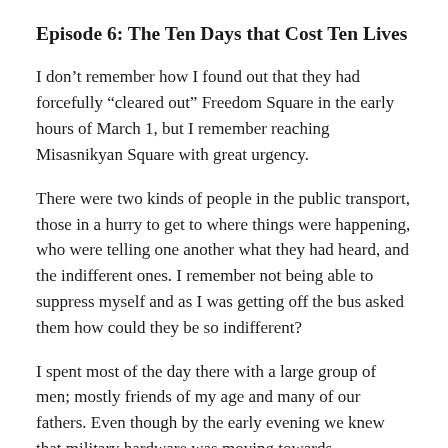Episode 6: The Ten Days that Cost Ten Lives
I don’t remember how I found out that they had forcefully “cleared out” Freedom Square in the early hours of March 1, but I remember reaching Misasnikyan Square with great urgency.
There were two kinds of people in the public transport, those in a hurry to get to where things were happening, who were telling one another what they had heard, and the indifferent ones. I remember not being able to suppress myself and as I was getting off the bus asked them how could they be so indifferent?
I spent most of the day there with a large group of men; mostly friends of my age and many of our fathers. Even though by the early evening we knew that military hardware was moving towards